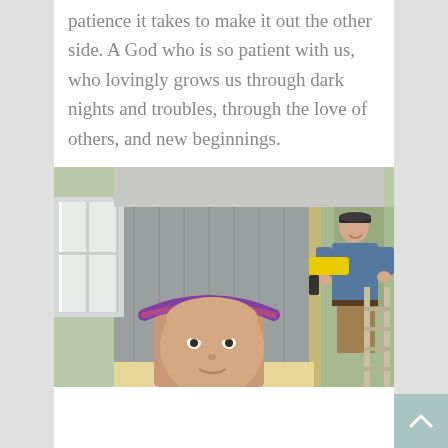patience it takes to make it out the other side. A God who is so patient with us, who lovingly grows us through dark nights and troubles, through the love of others, and new beginnings.
[Figure (photo): A woman in the foreground with a patterned headband, and a man standing on a ladder in the background holding a yellow power tool (drill/caulk gun), inside a building under construction with gray siding and wooden framing visible.]